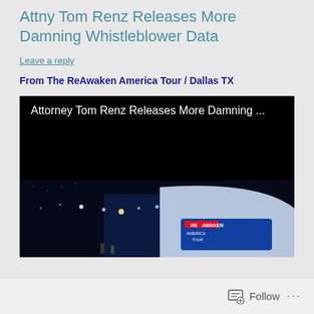Attny Tom Renz Releases More Damning Whistleblower Data
Leave a reply
From The ReAwaken America Tour / Dallas TX
[Figure (screenshot): Video thumbnail showing text 'Attorney Tom Renz Releases More Damning ...' on black background with nighttime event stage scene at the bottom showing 'ReAwaken America Tour' banner lit by lights]
Follow ...